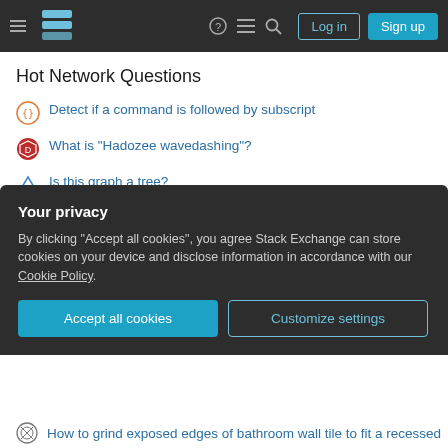Stack Exchange navigation bar with Log in and Sign up buttons
Hot Network Questions
Detect if a command is followed by subscript
What is "Hadozee wavedashing"?
Is this graph a tree?
Confused about MW to MWh conversion
Why a fork is often followed by an exec?
Does a US President have to file any paperwork to declassify information?
An abandoned Connect Wall
Your privacy
By clicking "Accept all cookies", you agree Stack Exchange can store cookies on your device and disclose information in accordance with our Cookie Policy.
How to grind exposed edges of bathroom wall tile to fit a recessed